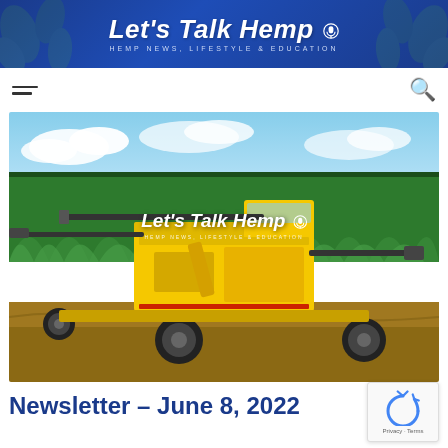Let's Talk Hemp — HEMP NEWS, LIFESTYLE & EDUCATION
[Figure (photo): Yellow hemp harvesting machine in front of a tall green hemp field under a blue sky with clouds. The Let's Talk Hemp logo is overlaid in the center of the image. A blue 'NEWSLETTER' tag is in the lower left corner.]
Newsletter – June 8, 2022